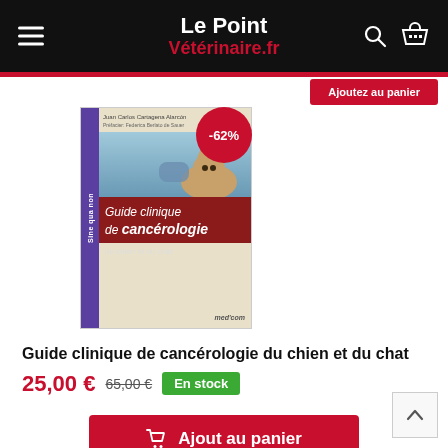Le Point Vétérinaire.fr
[Figure (photo): Book cover: Guide clinique de cancérologie du chien et du chat with a discount badge showing -62%]
Guide clinique de cancérologie du chien et du chat
25,00 € 65,00 € En stock
Ajout au panier